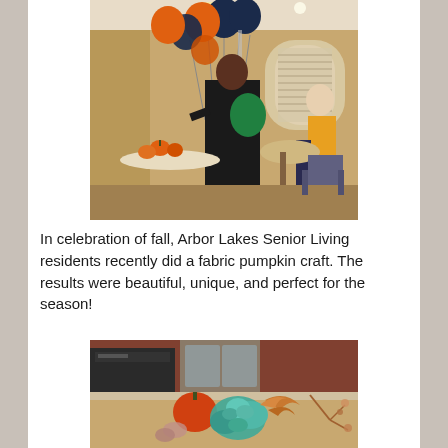[Figure (photo): Photo of a person in black clothing arranging orange and black/dark blue balloons in a dining room setting, with another person seated in the background. Orange decorative pumpkins visible on tables.]
In celebration of fall, Arbor Lakes Senior Living residents recently did a fabric pumpkin craft. The results were beautiful, unique, and perfect for the season!
[Figure (photo): Photo of a fall-themed decorative arrangement including an orange pumpkin, teal/blue succulent flowers, autumn leaves, and other seasonal items on a kitchen counter.]